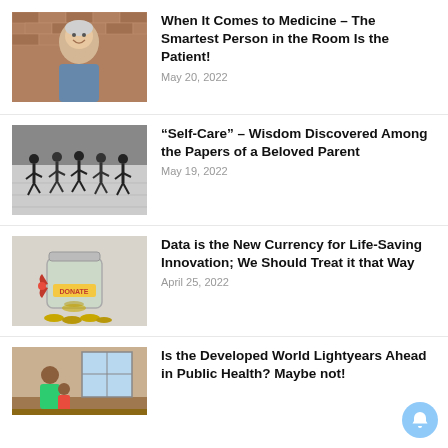[Figure (photo): Smiling middle-aged man with gray hair against a brick wall background]
When It Comes to Medicine – The Smartest Person in the Room Is the Patient!
May 20, 2022
[Figure (photo): Black and white photo of runners racing on a track]
“Self-Care” – Wisdom Discovered Among the Papers of a Beloved Parent
May 19, 2022
[Figure (photo): Glass jar labeled Donate filled with coins, with an orange ribbon]
Data is the New Currency for Life-Saving Innovation; We Should Treat it that Way
April 25, 2022
[Figure (photo): Woman with child in a developing world setting]
Is the Developed World Lightyears Ahead in Public Health? Maybe not!